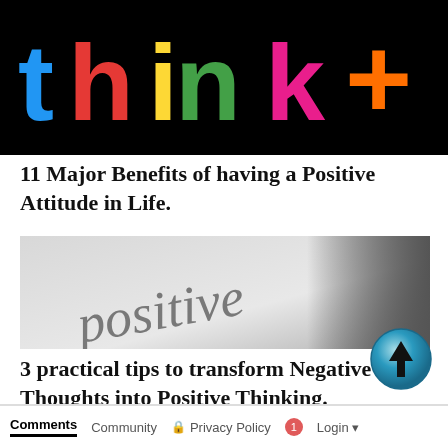[Figure (photo): Colorful word 'think+' in multicolored block letters (blue, red, yellow, green, magenta, orange) on a black background]
11 Major Benefits of having a Positive Attitude in Life.
[Figure (photo): Close-up photo of the cursive word 'positive' written in pencil on white paper, slightly blurred]
3 practical tips to transform Negative Thoughts into Positive Thinking.
Comments   Community   Privacy Policy   1   Login